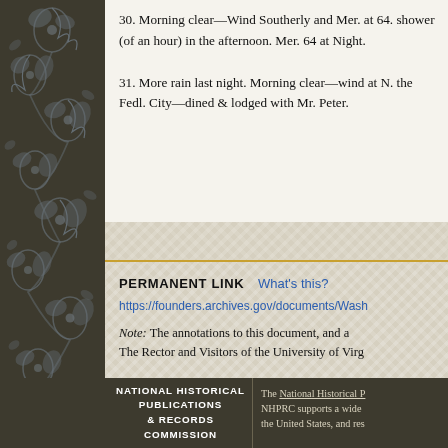30. Morning clear—Wind Southerly and Mer. at 64. shower (of an hour) in the afternoon. Mer. 64 at Night.
31. More rain last night. Morning clear—wind at N. the Fedl. City—dined & lodged with Mr. Peter.
PERMANENT LINK   What's this?
https://founders.archives.gov/documents/Wash...
Note: The annotations to this document, and a... The Rector and Visitors of the University of Virg...
Back to top
NATIONAL HISTORICAL PUBLICATIONS & RECORDS COMMISSION | The National Historical P... NHPRC supports a wide... the United States, and res...